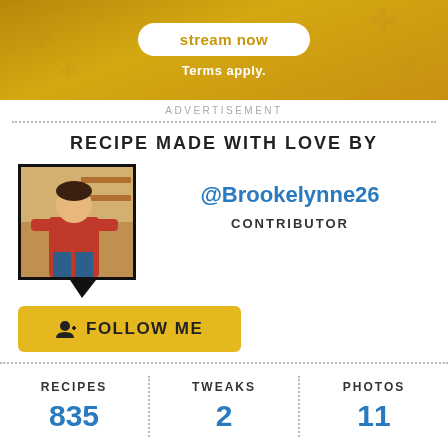[Figure (other): Advertisement banner with golden background, 'stream now' button and 'Terms apply.' text]
ADVERTISEMENT
RECIPE MADE WITH LOVE BY
[Figure (photo): Profile photo of contributor @Brookelynne26 in a speech bubble frame]
@Brookelynne26
CONTRIBUTOR
FOLLOW ME
| RECIPES | TWEAKS | PHOTOS |
| --- | --- | --- |
| 835 | 2 | 11 |
JOIN THE CONVERSATION